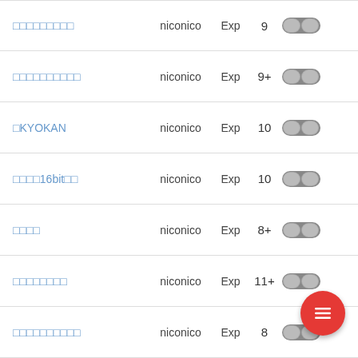□□□□□□□□□ | niconico | Exp | 9
□□□□□□□□□□ | niconico | Exp | 9+
□KYOKAN | niconico | Exp | 10
□□□□16bit□□ | niconico | Exp | 10
□□□□ | niconico | Exp | 8+
□□□□□□□□ | niconico | Exp | 11+
□□□□□□□□□□ | niconico | Exp | 8